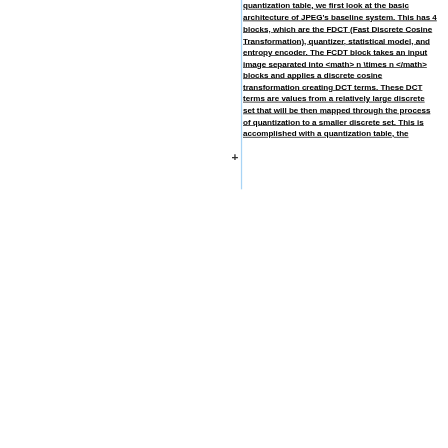quantization table, we first look at the basic architecture of JPEG's baseline system. This has 4 blocks, which are the FDCT (Fast Discrete Cosine Transformation), quantizer, statistical model, and entropy encoder. The FCDT block takes an input image separated into <math> n \times n </math> blocks and applies a discrete cosine transformation creating DCT terms. These DCT terms are values from a relatively large discrete set that will be then mapped through the process of quantization to a smaller discrete set. This is accomplished with a quantization table, the...